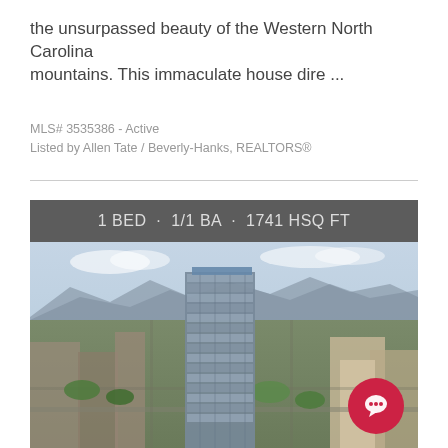the unsurpassed beauty of the Western North Carolina mountains. This immaculate house dire ...
MLS# 3535386 - Active
Listed by Allen Tate / Beverly-Hanks, REALTORS®
[Figure (photo): Aerial photograph of a modern glass high-rise building in downtown Asheville, NC, with mountains visible in the background and city buildings surrounding it. Bar overlay at top reads: 1 BED · 1/1 BA · 1741 HSQ FT]